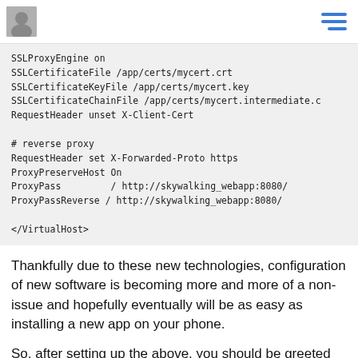[avatar] [hamburger menu]
SSLProxyEngine on
    SSLCertificateFile /app/certs/mycert.crt
    SSLCertificateKeyFile /app/certs/mycert.key
    SSLCertificateChainFile /app/certs/mycert.intermediate.c
    RequestHeader unset X-Client-Cert

    # reverse proxy
    RequestHeader set X-Forwarded-Proto https
    ProxyPreserveHost On
    ProxyPass        / http://skywalking_webapp:8080/
    ProxyPassReverse / http://skywalking_webapp:8080/

</VirtualHost>
Thankfully due to these new technologies, configuration of new software is becoming more and more of a non-issue and hopefully eventually will be as easy as installing a new app on your phone.
So, after setting up the above, you should be greeted with an empty instance of the software that's up and running: